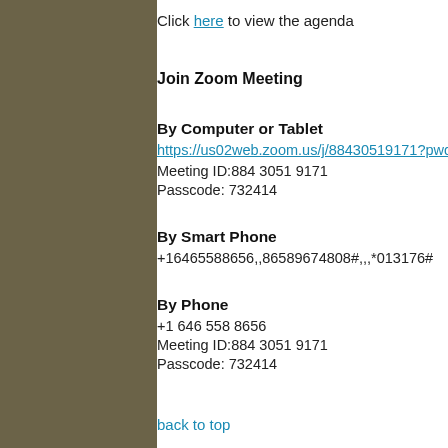Click here to view the agenda
Join Zoom Meeting
By Computer or Tablet
https://us02web.zoom.us/j/88430519171?pwd=UKA...
Meeting ID:884 3051 9171
Passcode: 732414
By Smart Phone
+16465588656,,86589674808#,,,*013176#
By Phone
+1 646 558 8656
Meeting ID:884 3051 9171
Passcode: 732414
back to top
Village Board of Trustees Meeting April 20, 20...
The Village Board of Trustees met on Wednesday, A... The meeting began with a moment of silence for the...